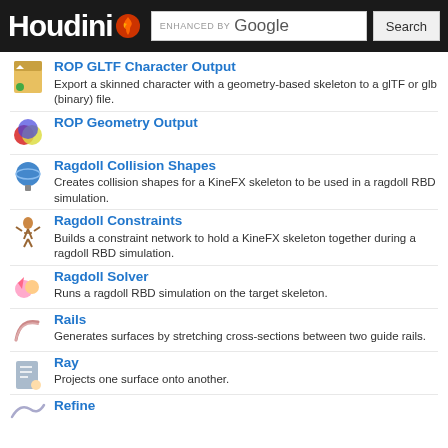Houdini — ENHANCED BY Google [Search]
ROP GLTF Character Output — Export a skinned character with a geometry-based skeleton to a glTF or glb (binary) file.
ROP Geometry Output
Ragdoll Collision Shapes — Creates collision shapes for a KineFX skeleton to be used in a ragdoll RBD simulation.
Ragdoll Constraints — Builds a constraint network to hold a KineFX skeleton together during a ragdoll RBD simulation.
Ragdoll Solver — Runs a ragdoll RBD simulation on the target skeleton.
Rails — Generates surfaces by stretching cross-sections between two guide rails.
Ray — Projects one surface onto another.
Refine